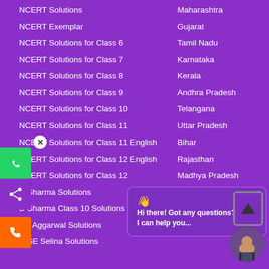NCERT Solutions
NCERT Exemplar
NCERT Solutions for Class 6
NCERT Solutions for Class 7
NCERT Solutions for Class 8
NCERT Solutions for Class 9
NCERT Solutions for Class 10
NCERT Solutions for Class 11
NCERT Solutions for Class 11 English
NCERT Solutions for Class 12 English
NCERT Solutions for Class 12
D Sharma Solutions
D Sharma Class 10 Solutions
RS Aggarwal Solutions
ICSE Selina Solutions
Maharashtra
Gujarat
Tamil Nadu
Karnataka
Kerala
Andhra Pradesh
Telangana
Uttar Pradesh
Bihar
Rajasthan
Madhya Pradesh
Hi there! Got any questions? I can help you...